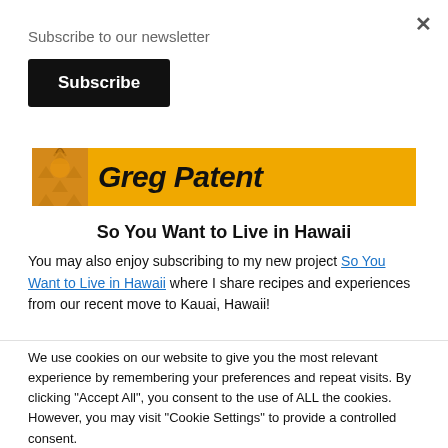×
Subscribe to our newsletter
Subscribe
[Figure (screenshot): Orange/yellow banner with pineapple pattern and text 'Greg Patent' in bold italic black font]
So You Want to Live in Hawaii
You may also enjoy subscribing to my new project So You Want to Live in Hawaii where I share recipes and experiences from our recent move to Kauai, Hawaii!
We use cookies on our website to give you the most relevant experience by remembering your preferences and repeat visits. By clicking "Accept All", you consent to the use of ALL the cookies. However, you may visit "Cookie Settings" to provide a controlled consent.
Cookie Settings
Accept All